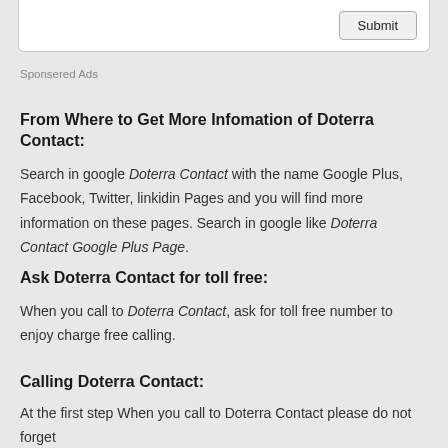[Figure (screenshot): Partial form with Submit button, white background with border]
Sponsered Ads
From Where to Get More Infomation of Doterra Contact:
Search in google Doterra Contact with the name Google Plus, Facebook, Twitter, linkidin Pages and you will find more information on these pages. Search in google like Doterra Contact Google Plus Page.
Ask Doterra Contact for toll free:
When you call to Doterra Contact, ask for toll free number to enjoy charge free calling.
Calling Doterra Contact:
At the first step When you call to Doterra Contact please do not forget